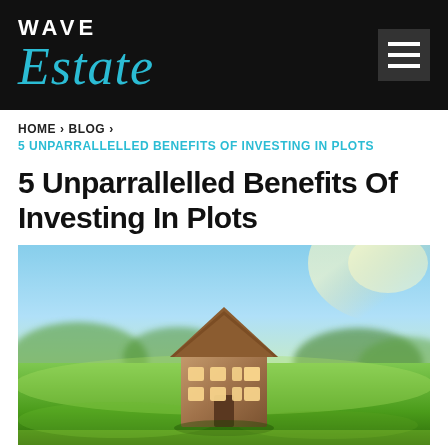WAVE Estate
HOME > BLOG > 5 UNPARRALLELLED BENEFITS OF INVESTING IN PLOTS
5 Unparrallelled Benefits Of Investing In Plots
[Figure (photo): A wooden house figurine shaped cutout sitting on green grass with a bright blue sky and trees in the blurred background, sunlight flare in upper right.]